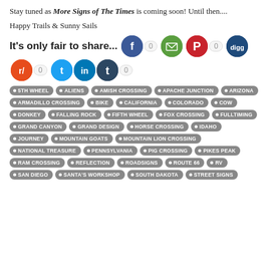Stay tuned as More Signs of The Times is coming soon! Until then....
Happy Trails & Sunny Sails
It's only fair to share... [social share buttons: Facebook 0, Email, Pinterest 0, Digg, Reddit 0, Twitter, LinkedIn, Tumblr 0]
5TH WHEEL
ALIENS
AMISH CROSSING
APACHE JUNCTION
ARIZONA
ARMADILLO CROSSING
BIKE
CALIFORNIA
COLORADO
COW
DONKEY
FALLING ROCK
FIFTH WHEEL
FOX CROSSING
FULLTIMING
GRAND CANYON
GRAND DESIGN
HORSE CROSSING
IDAHO
JOURNEY
MOUNTAIN GOATS
MOUNTAIN LION CROSSING
NATIONAL TREASURE
PENNSYLVANIA
PIG CROSSING
PIKES PEAK
RAM CROSSING
REFLECTION
ROADSIGNS
ROUTE 66
RV
SAN DIEGO
SANTA'S WORKSHOP
SOUTH DAKOTA
STREET SIGNS